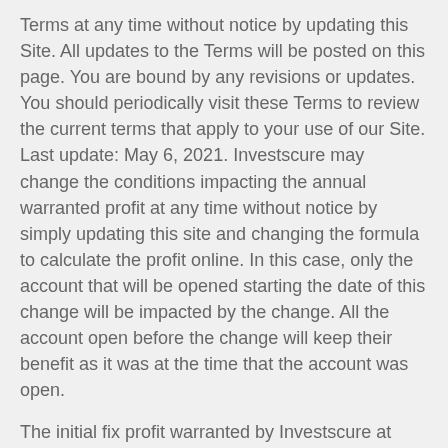Terms at any time without notice by updating this Site. All updates to the Terms will be posted on this page. You are bound by any revisions or updates. You should periodically visit these Terms to review the current terms that apply to your use of our Site. Last update: May 6, 2021. Investscure may change the conditions impacting the annual warranted profit at any time without notice by simply updating this site and changing the formula to calculate the profit online. In this case, only the account that will be opened starting the date of this change will be impacted by the change. All the account open before the change will keep their benefit as it was at the time that the account was open.
The initial fix profit warranted by Investscure at today date of January 7, 2022 is as follow:
Not account cannot be open with an amount less than $1,000.
Any account opened for one year period will have a warranted annual profit of 3% payable at the end of the selected period (at maturity).
Any account opened for two years period and more will have a warranted annual profit of 5%. The interests will be available for withdrawal at the end of each year. The funder can decide to withdraw the profit or ask Investscure by